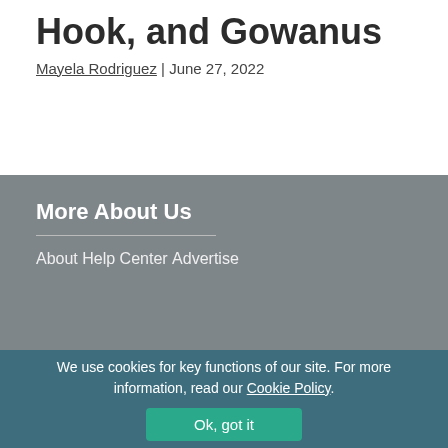Hook, and Gowanus
Mayela Rodriguez | June 27, 2022
More About Us
About
Help Center
Advertise
We use cookies for key functions of our site. For more information, read our Cookie Policy.
Ok, got it